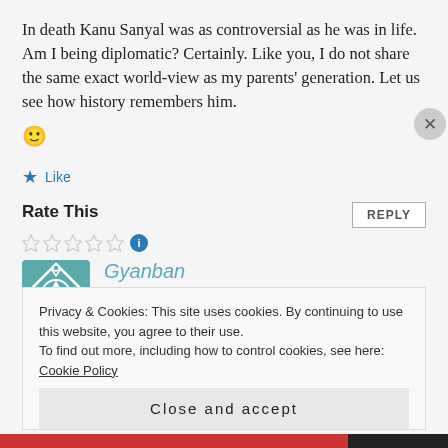In death Kanu Sanyal was as controversial as he was in life. Am I being diplomatic? Certainly. Like you, I do not share the same exact world-view as my parents' generation. Let us see how history remembers him. 🙂
★ Like
Rate This
REPLY
[Figure (other): Five empty star rating icons followed by a blue info icon]
[Figure (other): Teal/green decorative avatar icon with geometric snowflake pattern]
Gyanban
MARCH 25, 2010 AT 4:13 AM
Privacy & Cookies: This site uses cookies. By continuing to use this website, you agree to their use.
To find out more, including how to control cookies, see here: Cookie Policy
Close and accept